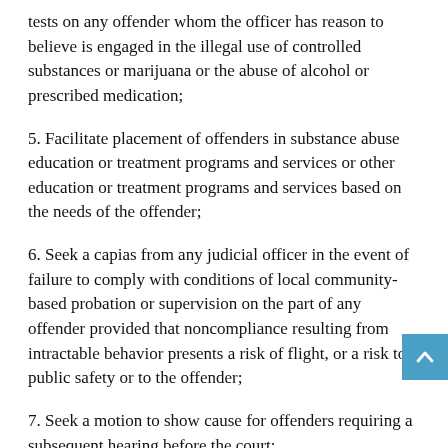tests on any offender whom the officer has reason to believe is engaged in the illegal use of controlled substances or marijuana or the abuse of alcohol or prescribed medication;
5. Facilitate placement of offenders in substance abuse education or treatment programs and services or other education or treatment programs and services based on the needs of the offender;
6. Seek a capias from any judicial officer in the event of failure to comply with conditions of local community-based probation or supervision on the part of any offender provided that noncompliance resulting from intractable behavior presents a risk of flight, or a risk to public safety or to the offender;
7. Seek a motion to show cause for offenders requiring a subsequent hearing before the court;
8. Provide information to assist any law-enforcement officer; …